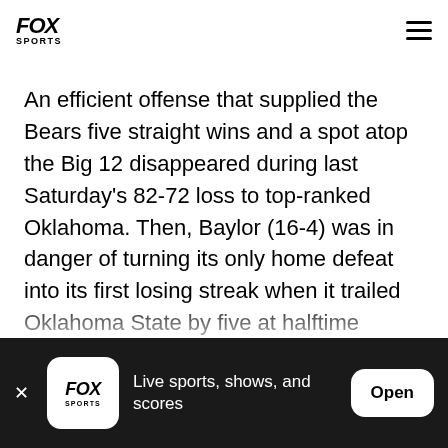FOX SPORTS
An efficient offense that supplied the Bears five straight wins and a spot atop the Big 12 disappeared during last Saturday's 82-72 loss to top-ranked Oklahoma. Then, Baylor (16-4) was in danger of turning its only home defeat into its first losing streak when it trailed Oklahoma State by five at halftime Wednesday.
Baylor found its offense just in time, however, scoring
FOX SPORTS — Live sports, shows, and scores — Open